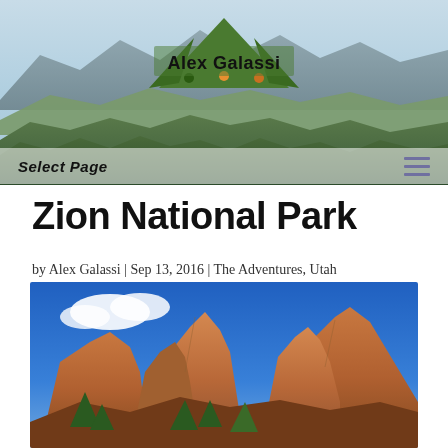[Figure (photo): Website header banner with mountain landscape background photo (mountains, foothills, sky) with Alex Galassi logo (green mountain triangle with text) centered in the header]
Select Page
Zion National Park
by Alex Galassi | Sep 13, 2016 | The Adventures, Utah
[Figure (photo): Photo of Zion National Park showing tall red-orange sandstone rock formations (spires/towers) against a bright blue sky with some clouds, with green trees at the base]